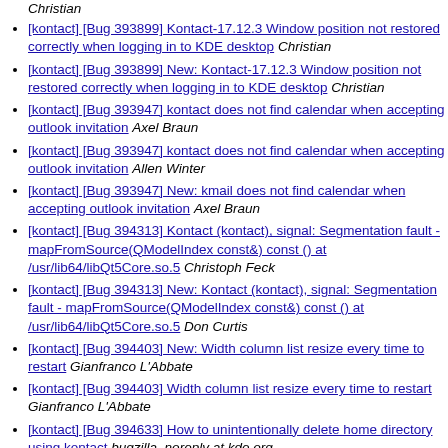[kontact] [Bug 393899] Kontact-17.12.3 Window position not restored correctly when logging in to KDE desktop  Christian
[kontact] [Bug 393899] New: Kontact-17.12.3 Window position not restored correctly when logging in to KDE desktop  Christian
[kontact] [Bug 393947] kontact does not find calendar when accepting outlook invitation  Axel Braun
[kontact] [Bug 393947] kontact does not find calendar when accepting outlook invitation  Allen Winter
[kontact] [Bug 393947] New: kmail does not find calendar when accepting outlook invitation  Axel Braun
[kontact] [Bug 394313] Kontact (kontact), signal: Segmentation fault - mapFromSource(QModelIndex const&) const () at /usr/lib64/libQt5Core.so.5  Christoph Feck
[kontact] [Bug 394313] New: Kontact (kontact), signal: Segmentation fault - mapFromSource(QModelIndex const&) const () at /usr/lib64/libQt5Core.so.5  Don Curtis
[kontact] [Bug 394403] New: Width column list resize every time to restart  Gianfranco L'Abbate
[kontact] [Bug 394403] Width column list resize every time to restart  Gianfranco L'Abbate
[kontact] [Bug 394633] How to unintentionally delete home directory using kontact  bugzilla_noreply at kde.org
[kontact] [Bug 394633] How to unintentionally delete home